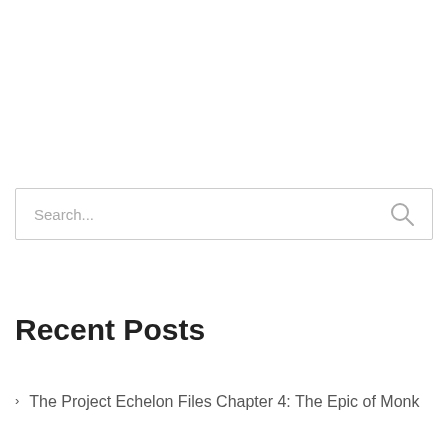[Figure (other): Search input box with placeholder text 'Search...' and a search icon on the right]
Recent Posts
The Project Echelon Files Chapter 4: The Epic of Monk